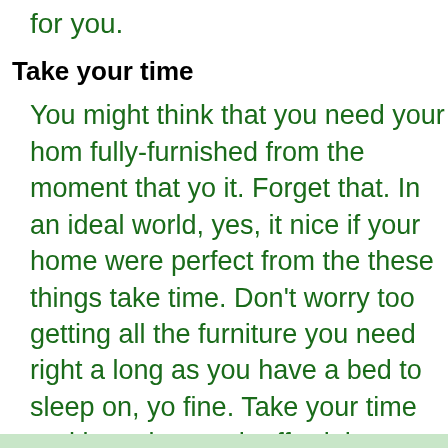for you.
Take your time
You might think that you need your home fully-furnished from the moment that you it. Forget that. In an ideal world, yes, it nice if your home were perfect from the these things take time. Don't worry too getting all the furniture you need right a long as you have a bed to sleep on, yo fine. Take your time and buy pieces wh afford them.
[Figure (infographic): Social sharing buttons: Like 0 (Facebook blue), Tweet (Twitter blue), Share (Google+ red)]